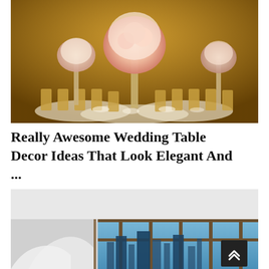[Figure (photo): Wedding reception hall with tall floral centerpieces of pink and white flowers in glass vases, gold chiavari chairs, and tables set with white linens under warm amber lighting.]
Really Awesome Wedding Table Decor Ideas That Look Elegant And ...
[Figure (photo): Modern interior space with white ceiling, a white curved chair or furniture piece, and large floor-to-ceiling windows showing a city skyline at dusk with blue tones.]